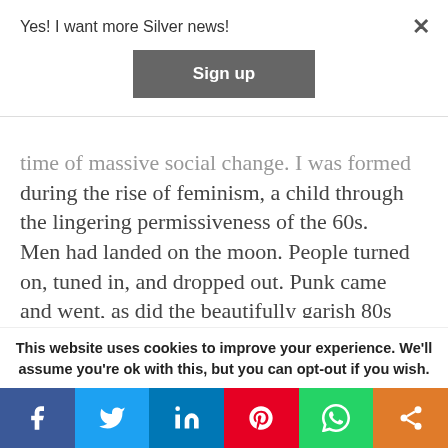Yes! I want more Silver news!
Sign up
time of massive social change. I was formed during the rise of feminism, a child through the lingering permissiveness of the 60s. Men had landed on the moon. People turned on, tuned in, and dropped out. Punk came and went, as did the beautifully garish 80s and my floppy New Romantic fringe. We had Thatcher. Riots. Football violence. Then the Summer of Love, and the sensory tsunami that was dance music and ecstasy bloomed...
This website uses cookies to improve your experience. We'll assume you're ok with this, but you can opt-out if you wish.